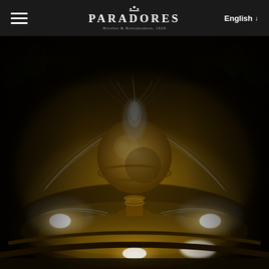Paradores Hoteles & Restaurantes — Navigation bar with hamburger menu, Paradores logo, and English language selector
[Figure (photo): Night photograph of an ornate illuminated stone fountain with a large spherical globe on a pedestal, water spraying outward in arcs, lit with warm golden/yellow underwater lights, set in a dark outdoor plaza with benches and trees visible in background]